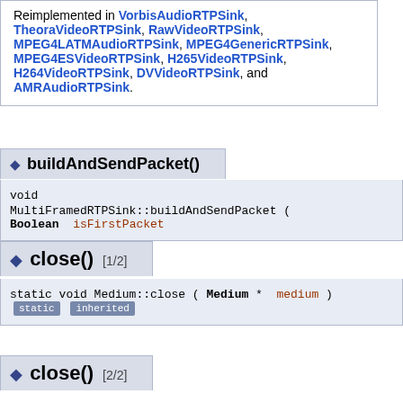Reimplemented in VorbisAudioRTPSink, TheoraVideoRTPSink, RawVideoRTPSink, MPEG4LATMAudioRTPSink, MPEG4GenericRTPSink, MPEG4ESVideoRTPSink, H265VideoRTPSink, H264VideoRTPSink, DVVideoRTPSink, and AMRAudioRTPSink.
buildAndSendPacket()
void
MultiFramedRTPSink::buildAndSendPacket ( Boolean  isFirstPacket
close() [1/2]
static void Medium::close ( Medium *  medium )   static  inherited
close() [2/2]